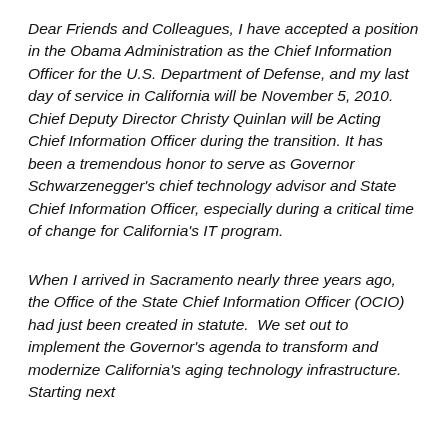Dear Friends and Colleagues, I have accepted a position in the Obama Administration as the Chief Information Officer for the U.S. Department of Defense, and my last day of service in California will be November 5, 2010.  Chief Deputy Director Christy Quinlan will be Acting Chief Information Officer during the transition. It has been a tremendous honor to serve as Governor Schwarzenegger's chief technology advisor and State Chief Information Officer, especially during a critical time of change for California's IT program.
When I arrived in Sacramento nearly three years ago, the Office of the State Chief Information Officer (OCIO) had just been created in statute.  We set out to implement the Governor's agenda to transform and modernize California's aging technology infrastructure.  Starting next